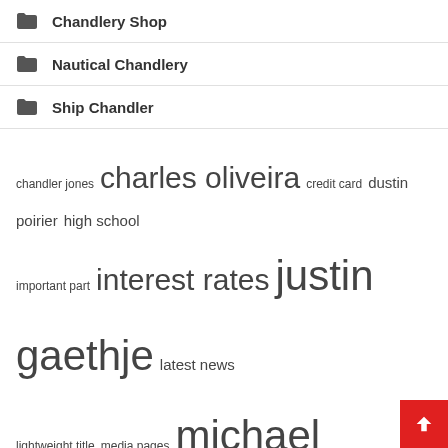Chandlery Shop
Nautical Chandlery
Ship Chandler
chandler jones  charles oliveira  credit card  dustin poirier  high school  important part  interest rates  justin gaethje  latest news  lightweight title  media pages  michael chandler  payday loans  real time  united states
Recent Posts
Popular Fast-Casual Restaurant Honeygrow Partners with DailyPay to Boost Employee Hiring and Seniority